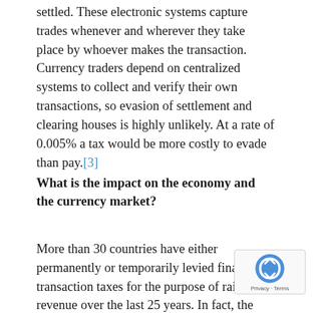settled. These electronic systems capture trades whenever and wherever they take place by whoever makes the transaction. Currency traders depend on centralized systems to collect and verify their own transactions, so evasion of settlement and clearing houses is highly unlikely. At a rate of 0.005% a tax would be more costly to evade than pay.[3]
What is the impact on the economy and the currency market?
More than 30 countries have either permanently or temporarily levied financial transaction taxes for the purpose of raising revenue over the last 25 years. In fact, the UK has had a “stamp duty” of 0.5% on stock transactions that raises the equivalent of 4% of their GDP each year, and London Stock Exchange continues to thrive.